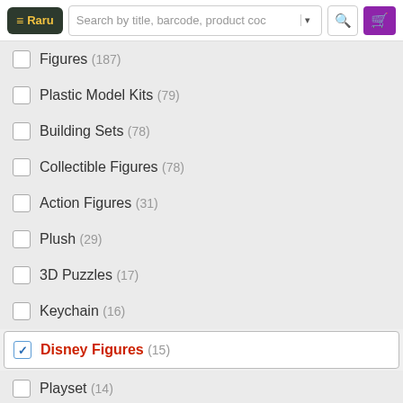Raru — Search by title, barcode, product code
Figures (187)
Plastic Model Kits (79)
Building Sets (78)
Collectible Figures (78)
Action Figures (31)
Plush (29)
3D Puzzles (17)
Keychain (16)
Disney Figures (15) [selected]
Playset (14)
Masks & Helmets (13)
Puzzles (13)